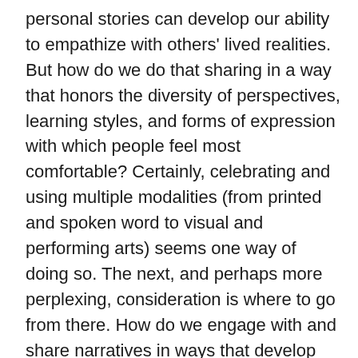personal stories can develop our ability to empathize with others' lived realities. But how do we do that sharing in a way that honors the diversity of perspectives, learning styles, and forms of expression with which people feel most comfortable? Certainly, celebrating and using multiple modalities (from printed and spoken word to visual and performing arts) seems one way of doing so. The next, and perhaps more perplexing, consideration is where to go from there. How do we engage with and share narratives in ways that develop empathy among both speakers and listeners? Is that even a responsible goal to have? Perhaps the better question is simply: What does the narrative's owner hope to feel, understand, or share with others in doing that sharing? How can we, as adults working with youth, pursue this sharing in a dialogical way that allows students to own their narratives and engage